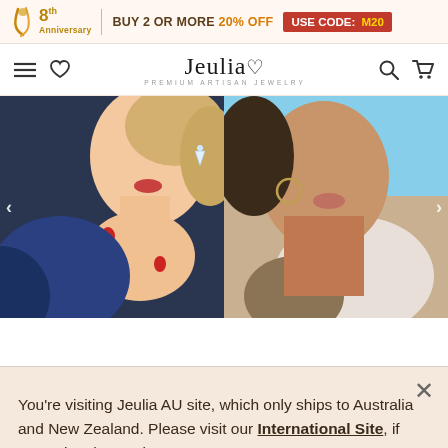8th Anniversary | BUY 2 OR MORE 20% OFF USE CODE: M20
Jeulia — PREMIUM ARTISAN JEWELRY
[Figure (photo): Two-panel hero image: left panel shows a woman with red nails holding her chin near her face wearing a crystal earring; right panel shows a woman wearing hoop earring against a blue sky background]
You're visiting Jeulia AU site, which only ships to Australia and New Zealand. Please visit our International Site, if you're in other regions.